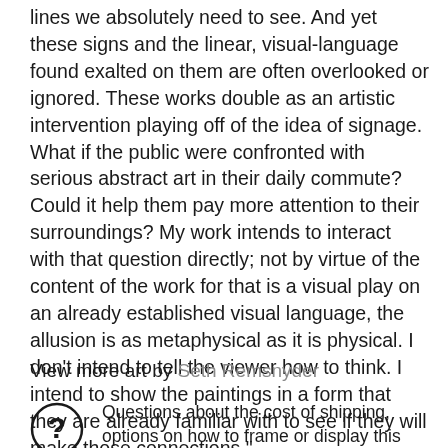lines we absolutely need to see. And yet these signs and the linear, visual-language found exalted on them are often overlooked or ignored. These works double as an artistic intervention playing off of the idea of signage. What if the public were confronted with serious abstract art in their daily commute? Could it help them pay more attention to their surroundings? My work intends to interact with that question directly; not by virtue of the content of the work for that is a visual play on an already established visual language, the allusion is as metaphysical as it is physical. I don't intend to tell the viewer how to think. I intend to show the paintings in a form that they are already familiar with to see if they will make those connections."
View more art by Seth Remsnyder
Questions about the cost of shipping, options on how to frame or display this piece, or payment plans? We can help!